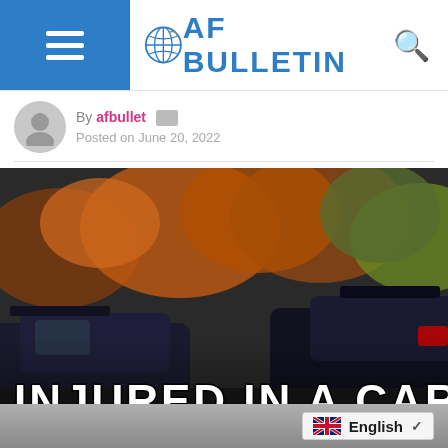AF BULLETIN
By afbullet
Posted on June 20, 2022
[Figure (photo): Cars parked outdoors with autumn trees in background, showing dark car spoilers and colorful foliage. Large white uppercase text overlay reads 'INJURED IN A CAR']
INJURED IN A CAR
English